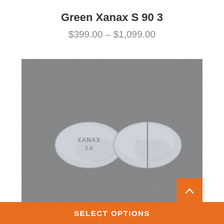Green Xanax S 90 3
$399.00 – $1,099.00
[Figure (photo): Two oval white/blue tablets photographed on grey crosshatch background. Left tablet shows 'XANAX 1.0' imprint. Right tablet shows scored/split reverse side.]
SELECT OPTIONS